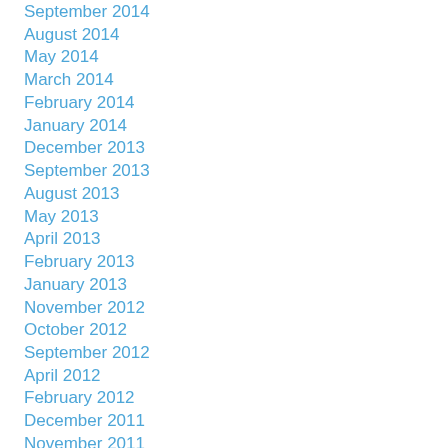September 2014
August 2014
May 2014
March 2014
February 2014
January 2014
December 2013
September 2013
August 2013
May 2013
April 2013
February 2013
January 2013
November 2012
October 2012
September 2012
April 2012
February 2012
December 2011
November 2011